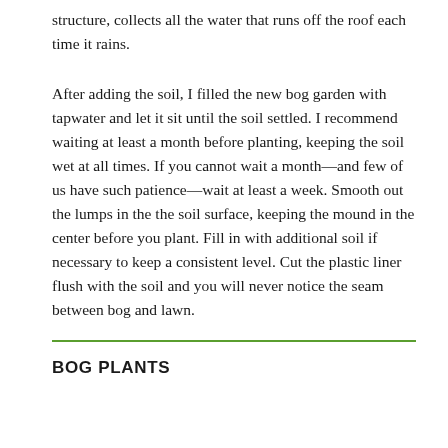structure, collects all the water that runs off the roof each time it rains.
After adding the soil, I filled the new bog garden with tapwater and let it sit until the soil settled. I recommend waiting at least a month before planting, keeping the soil wet at all times. If you cannot wait a month—and few of us have such patience—wait at least a week. Smooth out the lumps in the the soil surface, keeping the mound in the center before you plant. Fill in with additional soil if necessary to keep a consistent level. Cut the plastic liner flush with the soil and you will never notice the seam between bog and lawn.
BOG PLANTS